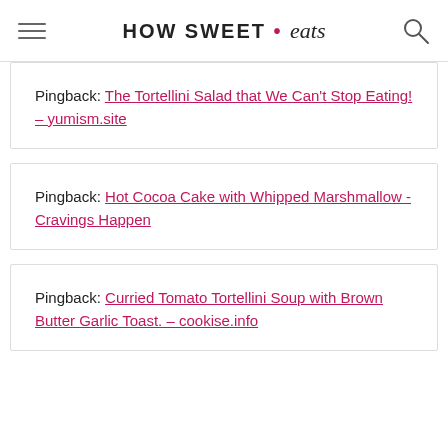HOW SWEET • eats
Pingback: The Tortellini Salad that We Can't Stop Eating! – yumism.site
Pingback: Hot Cocoa Cake with Whipped Marshmallow - Cravings Happen
Pingback: Curried Tomato Tortellini Soup with Brown Butter Garlic Toast. – cookise.info